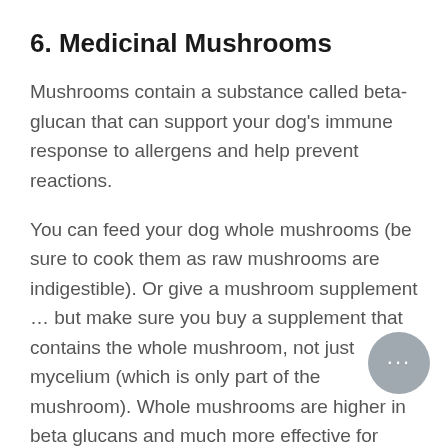6. Medicinal Mushrooms
Mushrooms contain a substance called beta-glucan that can support your dog’s immune response to allergens and help prevent reactions.
You can feed your dog whole mushrooms (be sure to cook them as raw mushrooms are indigestible). Or give a mushroom supplement … but make sure you buy a supplement that contains the whole mushroom, not just mycelium (which is only part of the mushroom). Whole mushrooms are higher in beta glucans and much more effective for your dog.
Give a product made for dogs and follow the